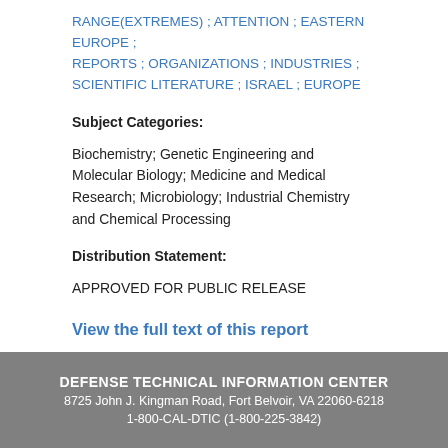RANGE(EXTREMES) ; ATTENTION ; EASTERN EUROPE ; REPORTS ; ORGANIZATIONS ; INDUSTRIES ; SCIENTIFIC LITERATURE ; ISRAEL ; EUROPE
Subject Categories:
Biochemistry; Genetic Engineering and Molecular Biology; Medicine and Medical Research; Microbiology; Industrial Chemistry and Chemical Processing
Distribution Statement:
APPROVED FOR PUBLIC RELEASE
View the full text of this report
DEFENSE TECHNICAL INFORMATION CENTER
8725 John J. Kingman Road, Fort Belvoir, VA 22060-6218
1-800-CAL-DTIC (1-800-225-3842)